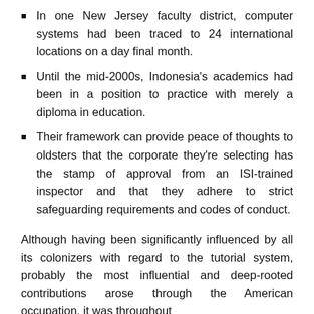In one New Jersey faculty district, computer systems had been traced to 24 international locations on a day final month.
Until the mid-2000s, Indonesia's academics had been in a position to practice with merely a diploma in education.
Their framework can provide peace of thoughts to oldsters that the corporate they're selecting has the stamp of approval from an ISI-trained inspector and that they adhere to strict safeguarding requirements and codes of conduct.
Although having been significantly influenced by all its colonizers with regard to the tutorial system, probably the most influential and deep-rooted contributions arose through the American occupation, it was throughout